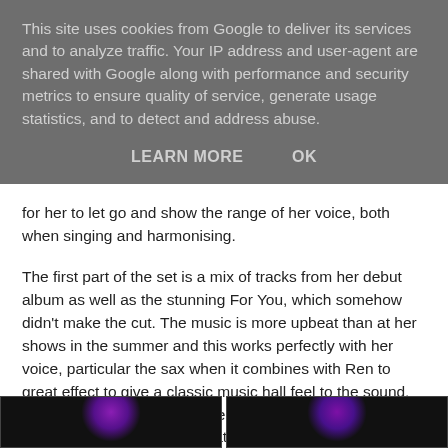This site uses cookies from Google to deliver its services and to analyze traffic. Your IP address and user-agent are shared with Google along with performance and security metrics to ensure quality of service, generate usage statistics, and to detect and address abuse.
LEARN MORE    OK
for her to let go and show the range of her voice, both when singing and harmonising.
The first part of the set is a mix of tracks from her debut album as well as the stunning For You, which somehow didn't make the cut. The music is more upbeat than at her shows in the summer and this works perfectly with her voice, particular the sax when it combines with Ren to great effect to give a classic music hall feel to the sound, particularly on Walking In The Rain and set closer Open Up Your Arms, something that many have strived for over the years, but not with this sort of success.
[Figure (photo): Two side-by-side dark/black images with purple/violet glowing light effects, appearing to be concert or performance photos.]